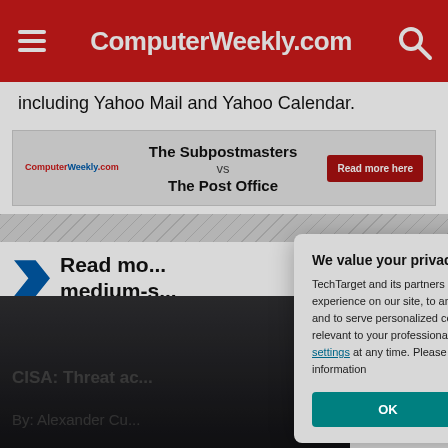ComputerWeekly.com
including Yahoo Mail and Yahoo Calendar.
[Figure (screenshot): ComputerWeekly.com advertisement banner: The Subpostmasters vs The Post Office. Read more here button.]
Read mo... medium-s...
[Figure (screenshot): CISA: Threat ac... video thumbnail with By: Alexander Cu...]
[Figure (screenshot): Privacy consent modal: We value your privacy. TechTarget and its partners employ cookies to improve your experience on our site, to analyze traffic and performance, and to serve personalized content and advertising that are relevant to your professional interests. You can manage your settings at any time. Please view our Privacy Policy for more information. Buttons: OK and Settings.]